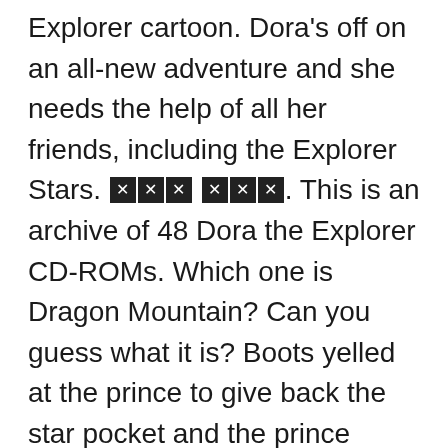Explorer cartoon. Dora's off on an all-new adventure and she needs the help of all her friends, including the Explorer Stars. [blocked][blocked][blocked] [blocked][blocked][blocked]. This is an archive of 48 Dora the Explorer CD-ROMs. Which one is Dragon Mountain? Can you guess what it is? Boots yelled at the prince to give back the star pocket and the prince refused and said that he's the star catcher now. This is the first episode to feature the Season 3-4 opening sequence on TV. Narendra Modi. Abuela gives Dora a very special present. Dora and